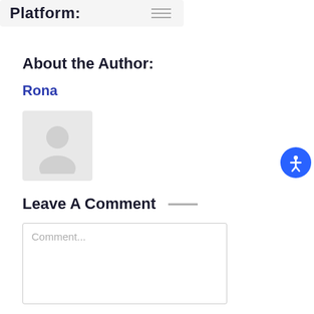Platform:
About the Author:
Rona
[Figure (illustration): Author avatar placeholder image with a faint person/user silhouette icon on a light grey background.]
Leave A Comment
Comment...